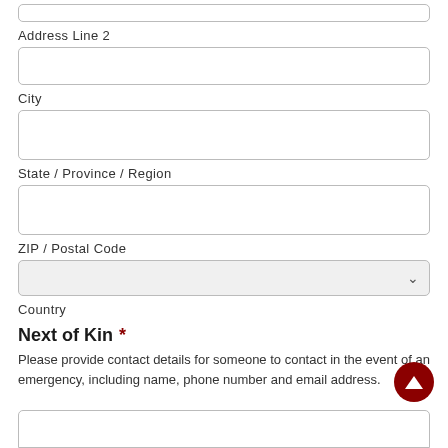Address Line 2
City
State / Province / Region
ZIP / Postal Code
Country
Next of Kin *
Please provide contact details for someone to contact in the event of an emergency, including name, phone number and email address.